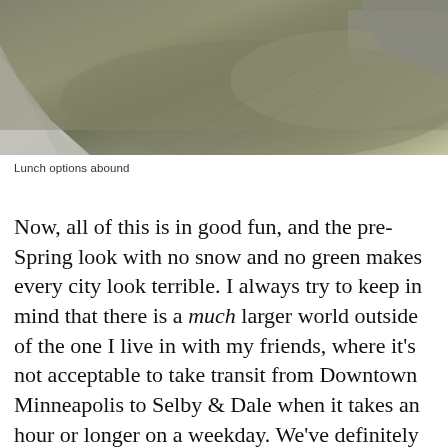[Figure (photo): Outdoor photo showing a grass lawn area with a concrete pathway on the left side and gravel in the upper right corner, taken at a low angle. Pre-spring look with brown/yellow-green grass.]
Lunch options abound
Now, all of this is in good fun, and the pre-Spring look with no snow and no green makes every city look terrible. I always try to keep in mind that there is a much larger world outside of the one I live in with my friends, where it’s not acceptable to take transit from Downtown Minneapolis to Selby & Dale when it takes an hour or longer on a weekday. We’ve definitely set up our own consensus about trends and lifestyles and the young people. One data point doesn’t reverse a trend, obviously. But it’s a